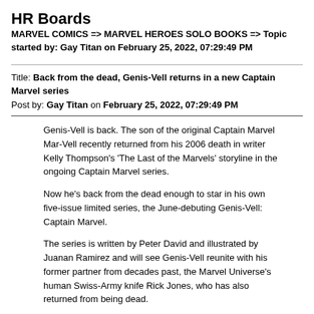HR Boards
MARVEL COMICS => MARVEL HEROES SOLO BOOKS => Topic started by: Gay Titan on February 25, 2022, 07:29:49 PM
Title: Back from the dead, Genis-Vell returns in a new Captain Marvel series
Post by: Gay Titan on February 25, 2022, 07:29:49 PM
Genis-Vell is back. The son of the original Captain Marvel Mar-Vell recently returned from his 2006 death in writer Kelly Thompson's 'The Last of the Marvels' storyline in the ongoing Captain Marvel series.
Now he's back from the dead enough to star in his own five-issue limited series, the June-debuting Genis-Vell: Captain Marvel.
The series is written by Peter David and illustrated by Juanan Ramirez and will see Genis-Vell reunite with his former partner from decades past, the Marvel Universe's human Swiss-Army knife Rick Jones, who has also returned from being dead.
According to Marvel, their adventure "spans the Marvel Cosmos" and involves a mystery involving "Death itself."